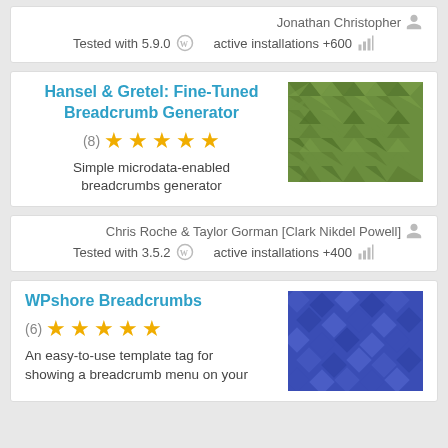Jonathan Christopher
Tested with 5.9.0   active installations +600
Hansel & Gretel: Fine-Tuned Breadcrumb Generator
(8) ★★★★★
Simple microdata-enabled breadcrumbs generator
[Figure (illustration): Green geometric triangular pattern thumbnail]
Chris Roche & Taylor Gorman [Clark Nikdel Powell]
Tested with 3.5.2   active installations +400
WPshore Breadcrumbs
(6) ★★★★★
An easy-to-use template tag for showing a breadcrumb menu on your site
[Figure (illustration): Blue geometric diamond pattern thumbnail]